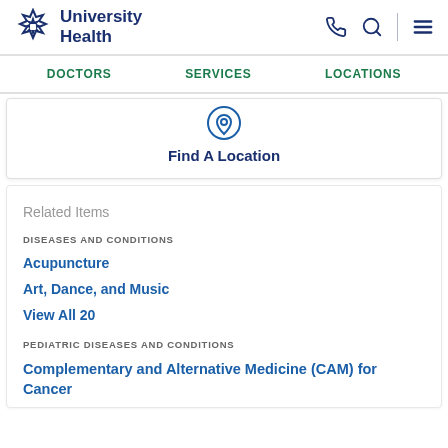University Health
DOCTORS   SERVICES   LOCATIONS
Find A Location
Related Items
DISEASES AND CONDITIONS
Acupuncture
Art, Dance, and Music
View All 20
PEDIATRIC DISEASES AND CONDITIONS
Complementary and Alternative Medicine (CAM) for Cancer